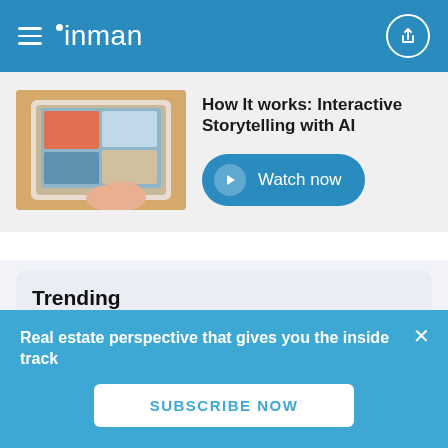inman
How It works: Interactive Storytelling with AI
[Figure (screenshot): Person using a tablet showing a home/real estate browsing interface]
Watch now
Trending
Fourth round of layoffs hits Keller Williams ahead of Mega Camp
[Figure (photo): Person in red outfit, Keller Williams article thumbnail]
Real estate perspective that gives you the inside track
SUBSCRIBE NOW